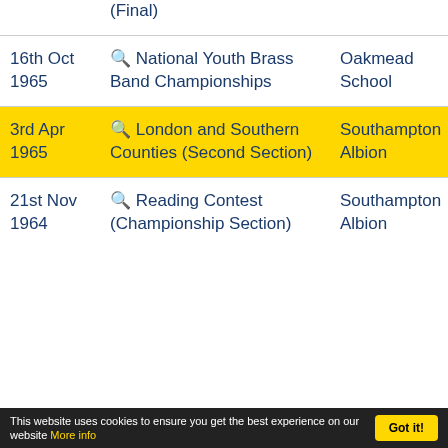| Date | Event | Venue | Position |
| --- | --- | --- | --- |
| (Final) |  |  |  |
| 16th Oct 1965 | 🔍 National Youth Brass Band Championships | Oakmead School |  |
| 3rd Apr 1965 | 🔍 London and Southern Counties (Second Section) | Southampton Albion | 1 |
| 21st Nov 1964 | 🔍 Reading Contest (Championship Section) | Southampton Albion |  |
This website uses cookies to ensure you get the best experience on our website Learn info